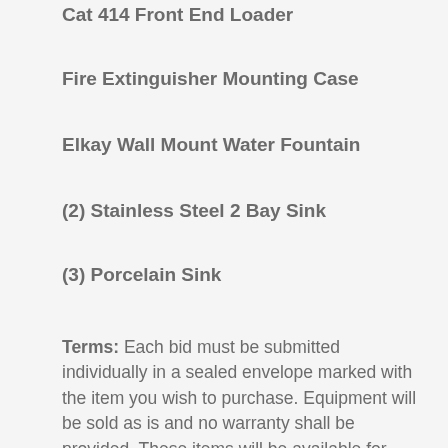Cat 414 Front End Loader
Fire Extinguisher Mounting Case
Elkay Wall Mount Water Fountain
(2) Stainless Steel 2 Bay Sink
(3) Porcelain Sink
Terms: Each bid must be submitted individually in a sealed envelope marked with the item you wish to purchase. Equipment will be sold as is and no warranty shall be provided. These items will be available for public viewing at the Public Works Shop 310 Mutual Blvd Princeville, NC on August the 11th @2:30 PM. The sealed bid will follow at the same location a 3:00 PM.  At any time the Town of Princeville has the right to reject any or all bids if it is